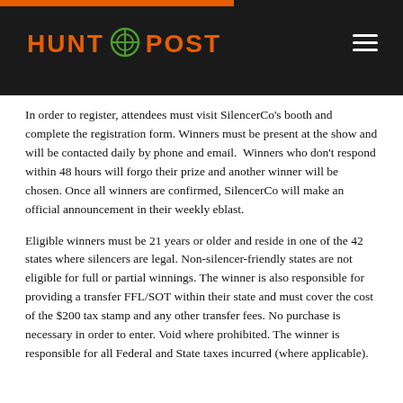HUNT POST
In order to register, attendees must visit SilencerCo's booth and complete the registration form. Winners must be present at the show and will be contacted daily by phone and email.  Winners who don't respond within 48 hours will forgo their prize and another winner will be chosen. Once all winners are confirmed, SilencerCo will make an official announcement in their weekly eblast.
Eligible winners must be 21 years or older and reside in one of the 42 states where silencers are legal. Non-silencer-friendly states are not eligible for full or partial winnings. The winner is also responsible for providing a transfer FFL/SOT within their state and must cover the cost of the $200 tax stamp and any other transfer fees. No purchase is necessary in order to enter. Void where prohibited. The winner is responsible for all Federal and State taxes incurred (where applicable).